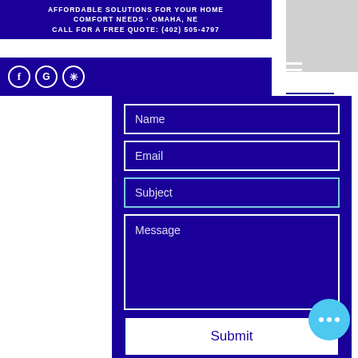AFFORDABLE SOLUTIONS FOR YOUR HOME COMFORT NEEDS - OMAHA, NE CALL FOR A FREE QUOTE: (402) 505-4797
[Figure (screenshot): Website contact form with dark blue background, social media icons (Facebook, Google, Yelp), hamburger menu, form fields for Name, Email, Subject, Message, and a Submit button, with footer copyright text.]
© 2021 by Solutions Heating and Air Conditioning. Designed & Built by Dillon Hike - Hikejd@gmail.com